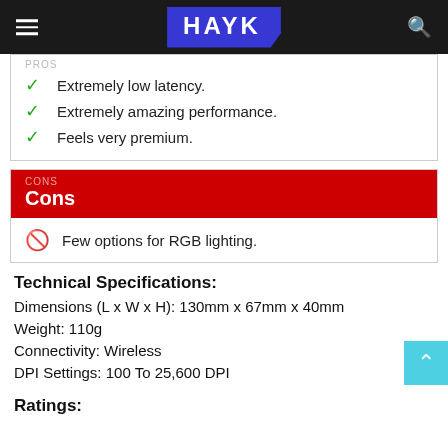HAYK
Extremely low latency.
Extremely amazing performance.
Feels very premium.
Cons
Few options for RGB lighting.
Technical Specifications:
Dimensions (L x W x H): 130mm x 67mm x 40mm
Weight: 110g
Connectivity: Wireless
DPI Settings: 100 To 25,600 DPI
Ratings: